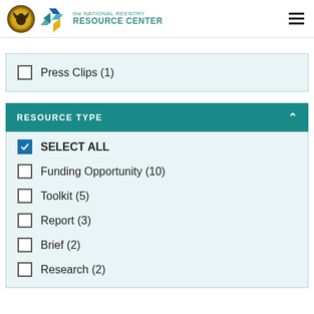[Figure (logo): Department of Justice seal and National Reentry Resource Center logo with text]
Press Clips (1)
RESOURCE TYPE
SELECT ALL
Funding Opportunity (10)
Toolkit (5)
Report (3)
Brief (2)
Research (2)